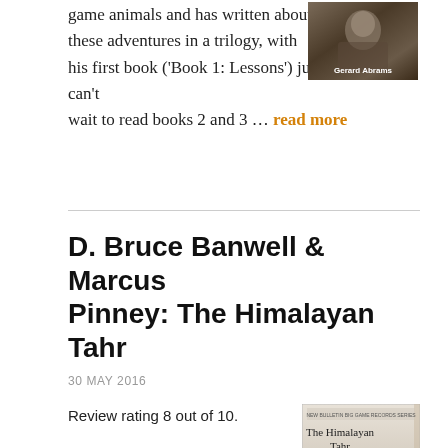game animals and has written about these adventures in a trilogy, with his first book ('Book 1: Lessons') just released. I can't wait to read books 2 and 3 … read more
[Figure (photo): Photo of Gerard Abrams, a person in outdoor/hunting attire, with name caption 'Gerard Abrams']
D. Bruce Banwell & Marcus Pinney: The Himalayan Tahr
30 MAY 2016
Review rating 8 out of 10.
[Figure (photo): Book cover of 'The Himalayan Tahr' from the New Bulletin Big Game Records series, showing a himalayan tahr animal]
The Himalayan Tahr is the 8th and final book which